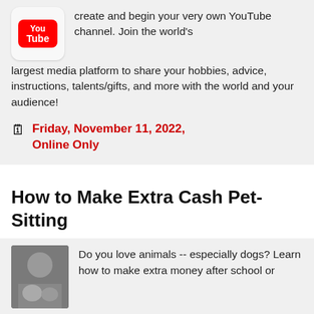create and begin your very own YouTube channel. Join the world's largest media platform to share your hobbies, advice, instructions, talents/gifts, and more with the world and your audience!
Friday, November 11, 2022, Online Only
How to Make Extra Cash Pet-Sitting
[Figure (photo): Photo of a person with dogs, pet-sitting scene]
Do you love animals -- especially dogs? Learn how to make extra money after school or work by watching dogs or other pets, usually in the pet's home. You will learn about feeding, watering, and exercising pets, and how to make a